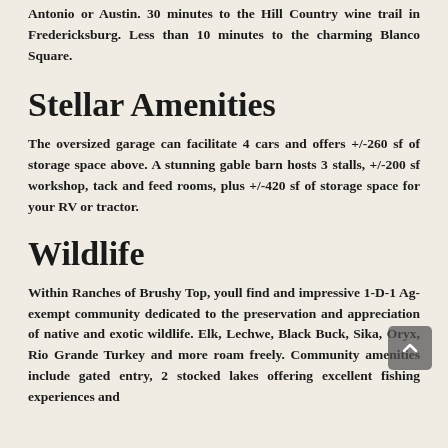Antonio or Austin. 30 minutes to the Hill Country wine trail in Fredericksburg. Less than 10 minutes to the charming Blanco Square.
Stellar Amenities
The oversized garage can facilitate 4 cars and offers +/-260 sf of storage space above. A stunning gable barn hosts 3 stalls, +/-200 sf workshop, tack and feed rooms, plus +/-420 sf of storage space for your RV or tractor.
Wildlife
Within Ranches of Brushy Top, youll find and impressive 1-D-1 Ag-exempt community dedicated to the preservation and appreciation of native and exotic wildlife. Elk, Lechwe, Black Buck, Sika, Oryx, Rio Grande Turkey and more roam freely. Community amenities include gated entry, 2 stocked lakes offering excellent fishing experiences and